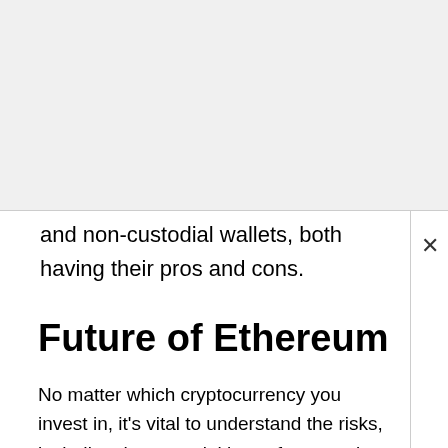and non-custodial wallets, both having their pros and cons.
Future of Ethereum
No matter which cryptocurrency you invest in, it's vital to understand the risks, including the potential loss of your entire investment. Crypto investments are volatile and risky thus a measured approach with considerable risk tolerance is necessary for all investors.
The crypto news outlet Coinpedia predicted ETH could end 2022 between $6,500 and $7,500 if the upswing that